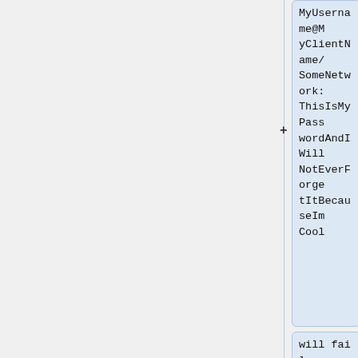MyUsername@MyClientName/SomeNetwork:ThisIsMyPasswordAndIWillNotEverForgetItBecauseImCool
will fail and be truncated to
MyUsername@MyClientName/SomeNetwork:ThisIsMyPasswordAndIWillNotEverForgetItBecauseImCo